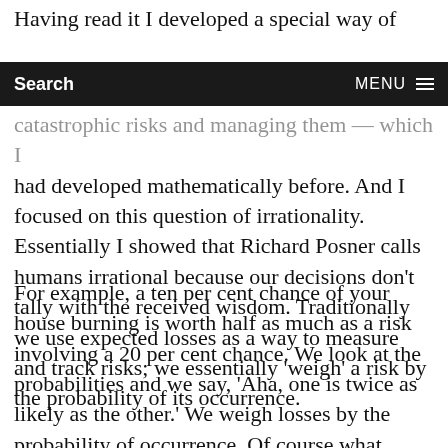Having read it I developed a special way of
Search   MENU
catastrophic risks and managing them — which I had developed mathematically before. And I focused on this question of irrationality. Essentially I showed that Richard Posner calls humans irrational because our decisions don't tally with the received wisdom. Traditionally we use expected losses as a way to measure and track risks; we essentially 'weigh' a risk by the probability of its occurrence.
For example, a ten per cent chance of your house burning is worth half as much as a risk involving a 20 per cent chance. We look at the probabilities and we say, 'Aha, one is twice as likely as the other.' We weigh losses by the probability of occurrence. Of course what happens with this approach is that